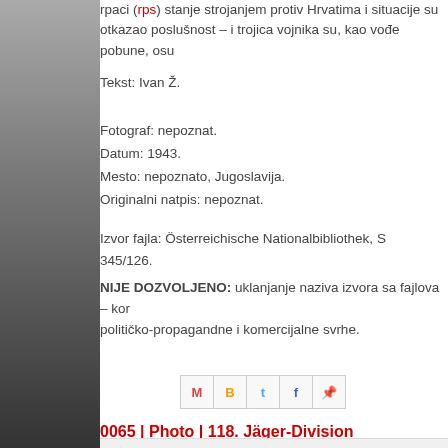...rpaci (rps) stanje strojanjem protiv Hrvatima i situacije su otkazao poslušnost – i trojica vojnika su, kao vođe pobune, osu...
Tekst: Ivan Ž.
Fotograf: nepoznat.
Datum: 1943.
Mesto: nepoznato, Jugoslavija.
Originalni natpis: nepoznat.
Izvor fajla: Österreichische Nationalbibliothek, S 345/126.
NIJE DOZVOLJENO: uklanjanje naziva izvora sa fajlova – kom... političko-propagandne i komercijalne svrhe.
[Figure (screenshot): Social sharing icons bar: Gmail, Blogger, Twitter, Facebook, Pinterest]
0065 | Photo | 118. Jäger-Division
[Figure (photo): Partial photo visible at bottom edge]